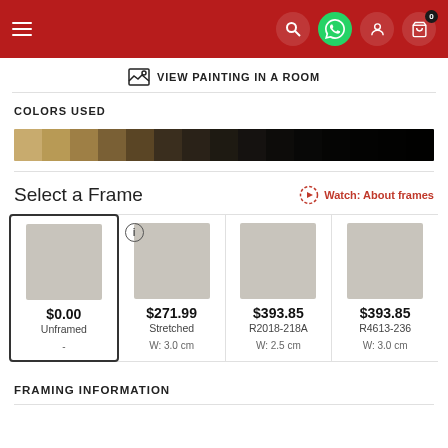Navigation header with menu, search, WhatsApp, account, and cart icons
VIEW PAINTING IN A ROOM
COLORS USED
[Figure (other): Color palette bar showing gradient from tan/khaki through brown to black]
Select a Frame
Watch: About frames
| Price | Name | Width |
| --- | --- | --- |
| $0.00 | Unframed | - |
| $271.99 | Stretched | W: 3.0 cm |
| $393.85 | R2018-218A | W: 2.5 cm |
| $393.85 | R4613-236 | W: 3.0 cm |
FRAMING INFORMATION